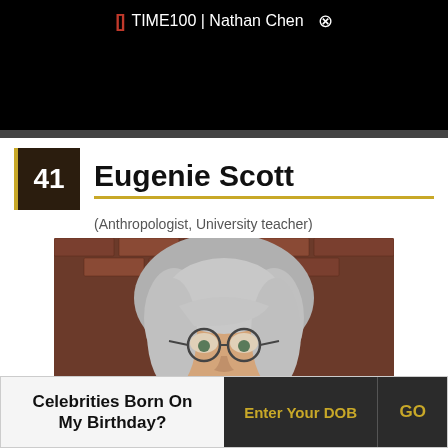TIME100 | Nathan Chen
41 Eugenie Scott
(Anthropologist, University teacher)
[Figure (photo): Portrait photo of Eugenie Scott, an older woman with long gray/white hair and round glasses, in front of a brick wall background]
Celebrities Born On My Birthday?
Enter Your DOB  GO